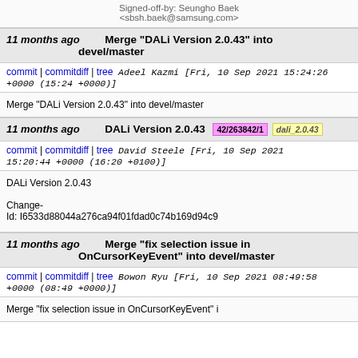Signed-off-by: Seungho Baek <sbsh.baek@samsung.com>
11 months ago  Merge "DALi Version 2.0.43" into devel/master
commit | commitdiff | tree  Adeel Kazmi [Fri, 10 Sep 2021 15:24:26 +0000 (15:24 +0000)]
Merge "DALi Version 2.0.43" into devel/master
11 months ago  DALi Version 2.0.43  42/263842/1  dali_2.0.43
commit | commitdiff | tree  David Steele [Fri, 10 Sep 2021 15:20:44 +0000 (16:20 +0100)]
DALi Version 2.0.43

Change-Id: I6533d88044a276ca94f01fdad0c74b169d94c9
11 months ago  Merge "fix selection issue in OnCursorKeyEvent" into devel/master
commit | commitdiff | tree  Bowon Ryu [Fri, 10 Sep 2021 08:49:58 +0000 (08:49 +0000)]
Merge "fix selection issue in OnCursorKeyEvent" i